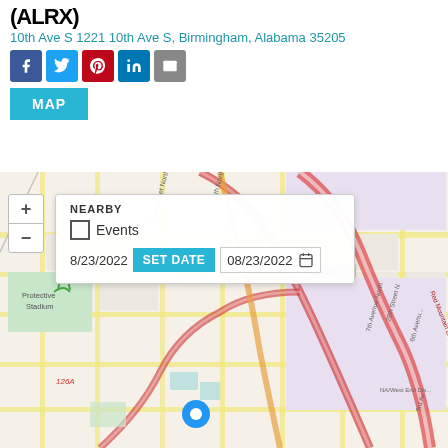(ALRX)
10th Ave S 1221 10th Ave S, Birmingham, Alabama 35205
[Figure (infographic): Social media sharing buttons: Facebook (blue), Twitter (light blue), Pinterest (red), LinkedIn (blue), Email (grey)]
MAP
[Figure (map): Street map of Birmingham, Alabama showing area around 10th Ave S with Red Mountain Expressway, US 31 highway, Protective Stadium, 24th Street North, and a blue location pin. Overlay shows NEARBY panel with Events checkbox, date 8/23/2022, SET DATE button, and date input showing 08/23/2022.]